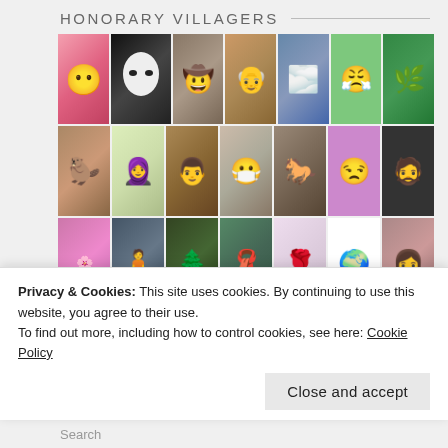HONORARY VILLAGERS
[Figure (photo): Grid of profile photos and avatar icons for honorary villagers — approximately 6 columns × 6 rows of thumbnail images including cartoons, emoji faces, portraits, nature photos, and illustrations]
Privacy & Cookies: This site uses cookies. By continuing to use this website, you agree to their use.
To find out more, including how to control cookies, see here: Cookie Policy
Close and accept